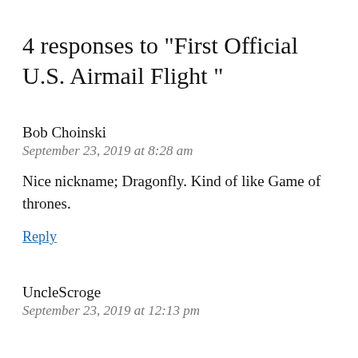4 responses to "First Official U.S. Airmail Flight "
Bob Choinski
September 23, 2019 at 8:28 am
Nice nickname; Dragonfly. Kind of like Game of thrones.
Reply
UncleScroge
September 23, 2019 at 12:13 pm